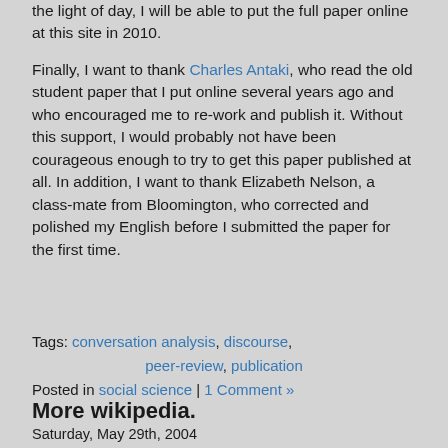the light of day, I will be able to put the full paper online at this site in 2010.
Finally, I want to thank Charles Antaki, who read the old student paper that I put online several years ago and who encouraged me to re-work and publish it. Without this support, I would probably not have been courageous enough to try to get this paper published at all. In addition, I want to thank Elizabeth Nelson, a class-mate from Bloomington, who corrected and polished my English before I submitted the paper for the first time.
Tags: conversation analysis, discourse, peer-review, publication
Posted in social science | 1 Comment »
More wikipedia.
Saturday, May 29th, 2004